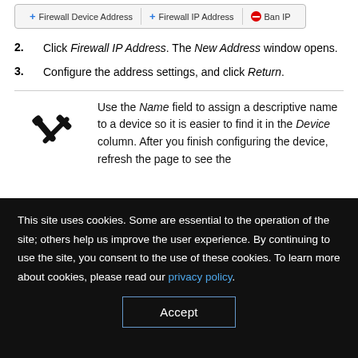[Figure (screenshot): Toolbar with buttons: + Firewall Device Address, + Firewall IP Address, Ban IP]
Click Firewall IP Address. The New Address window opens.
Configure the address settings, and click Return.
Use the Name field to assign a descriptive name to a device so it is easier to find it in the Device column. After you finish configuring the device, refresh the page to see the
This site uses cookies. Some are essential to the operation of the site; others help us improve the user experience. By continuing to use the site, you consent to the use of these cookies. To learn more about cookies, please read our privacy policy.
Accept